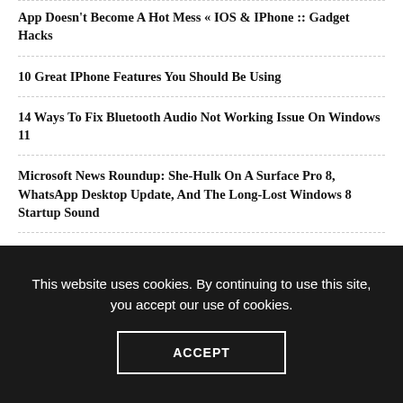App Doesn't Become A Hot Mess « IOS & IPhone :: Gadget Hacks
10 Great IPhone Features You Should Be Using
14 Ways To Fix Bluetooth Audio Not Working Issue On Windows 11
Microsoft News Roundup: She-Hulk On A Surface Pro 8, WhatsApp Desktop Update, And The Long-Lost Windows 8 Startup Sound
Alok Sharma's COP26 Tears Mean Nothing Without Action
How To Install GCam 8.5.300 Mod In All Android Smartphones
This website uses cookies. By continuing to use this site, you accept our use of cookies.
ACCEPT